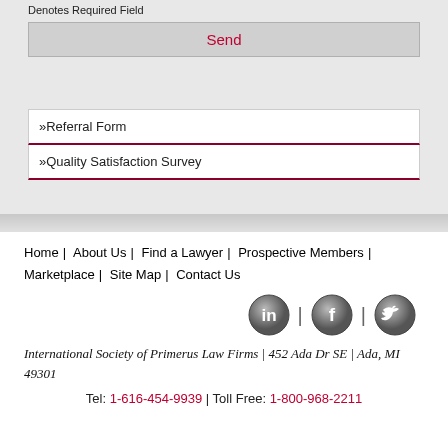Denotes Required Field
Send
»Referral Form
»Quality Satisfaction Survey
Home | About Us | Find a Lawyer | Prospective Members | Marketplace | Site Map | Contact Us
[Figure (logo): Three social media icons: LinkedIn (in), Facebook (f), Twitter (bird), separated by vertical bars]
International Society of Primerus Law Firms | 452 Ada Dr SE | Ada, MI 49301
Tel: 1-616-454-9939 | Toll Free: 1-800-968-2211